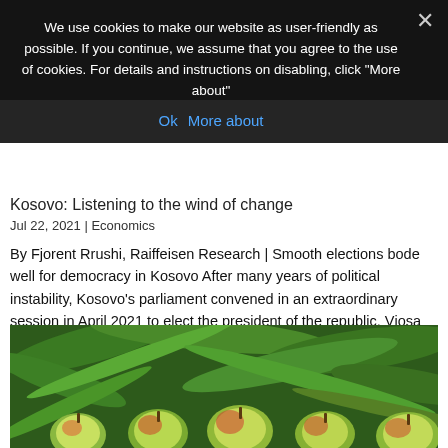We use cookies to make our website as user-friendly as possible. If you continue, we assume that you agree to the use of cookies. For details and instructions on disabling, click "More about"
Ok   More about
Kosovo: Listening to the wind of change
Jul 22, 2021 | Economics
By Fjorent Rrushi, Raiffeisen Research | Smooth elections bode well for democracy in Kosovo After many years of political instability, Kosovo's parliament convened in an extraordinary session in April 2021 to elect the president of the republic. Vjosa Osmani, a…
[Figure (photo): Close-up photo of small red and green apples or crabapples on a branch with green leaves in the background]